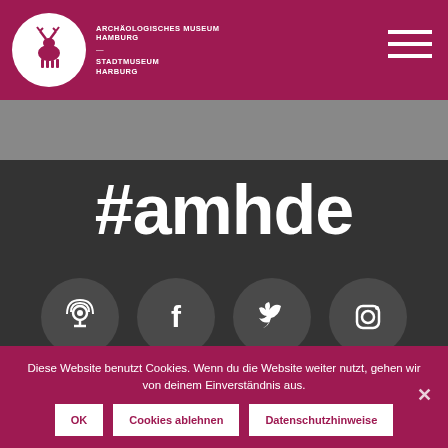[Figure (logo): Archaeologisches Museum Hamburg logo with deer/animal silhouette in white circle on crimson header bar with hamburger menu icon]
#amhde
[Figure (infographic): Social media icons: Podcast, Facebook, Twitter, Instagram, YouTube, WordPress in dark gray circles on dark background]
Diese Website benutzt Cookies. Wenn du die Website weiter nutzt, gehen wir von deinem Einverständnis aus.
OK
Cookies ablehnen
Datenschutzhinweise